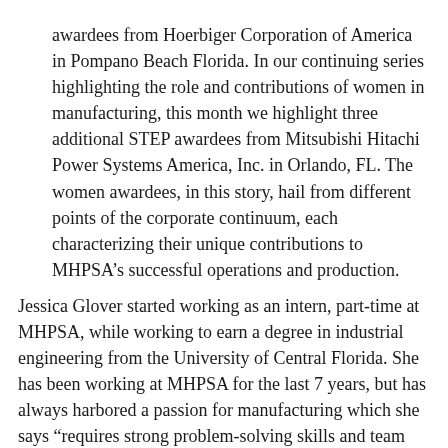awardees from Hoerbiger Corporation of America in Pompano Beach Florida. In our continuing series highlighting the role and contributions of women in manufacturing, this month we highlight three additional STEP awardees from Mitsubishi Hitachi Power Systems America, Inc. in Orlando, FL. The women awardees, in this story, hail from different points of the corporate continuum, each characterizing their unique contributions to MHPSA’s successful operations and production.
Jessica Glover started working as an intern, part-time at MHPSA, while working to earn a degree in industrial engineering from the University of Central Florida. She has been working at MHPSA for the last 7 years, but has always harbored a passion for manufacturing which she says “requires strong problem-solving skills and team work.” Ivonne Pacheco is in charge of clerical administration control and has been at MHPSA for